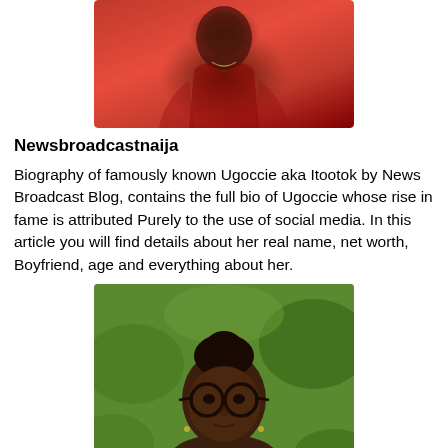[Figure (photo): Woman in red outfit, top portion of body visible, cropped at top of page]
Newsbroadcastnaija
Biography of famously known Ugoccie aka Itootok by News Broadcast Blog, contains the full bio of Ugoccie whose rise in fame is attributed Purely to the use of social media. In this article you will find details about her real name, net worth, Boyfriend, age and everything about her.
[Figure (photo): Young woman with glasses and hair in a bun, seated outdoors with green foliage in background]